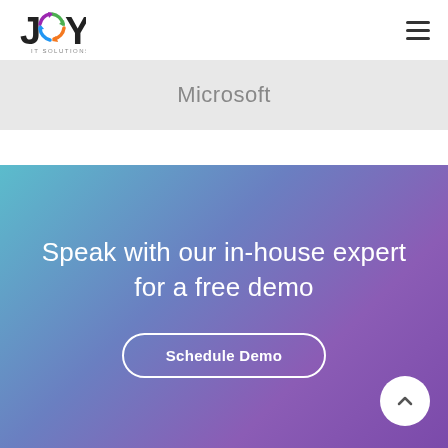[Figure (logo): JOY IT Solutions logo — stylized JOY text with colorful circular arrow icon and IT SOLUTIONS subtitle]
[Figure (other): Hamburger menu icon (three horizontal lines)]
Microsoft
Speak with our in-house expert for a free demo
Schedule Demo
[Figure (other): Up arrow button (chevron up in white circle)]